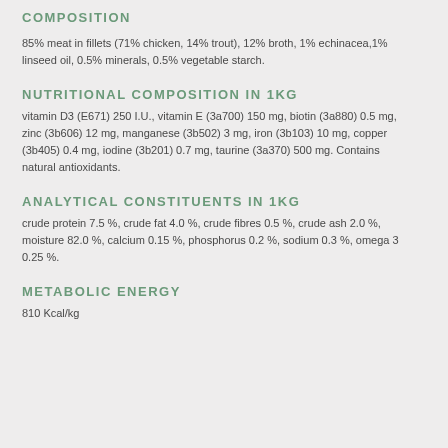COMPOSITION
85% meat in fillets (71% chicken, 14% trout), 12% broth, 1% echinacea,1% linseed oil, 0.5% minerals, 0.5% vegetable starch.
NUTRITIONAL COMPOSITION IN 1KG
vitamin D3 (E671) 250 I.U., vitamin E (3a700) 150 mg, biotin (3a880) 0.5 mg, zinc (3b606) 12 mg, manganese (3b502) 3 mg, iron (3b103) 10 mg, copper (3b405) 0.4 mg, iodine (3b201) 0.7 mg, taurine (3a370) 500 mg. Contains natural antioxidants.
ANALYTICAL CONSTITUENTS IN 1KG
crude protein 7.5 %, crude fat 4.0 %, crude fibres 0.5 %, crude ash 2.0 %, moisture 82.0 %, calcium 0.15 %, phosphorus 0.2 %, sodium 0.3 %, omega 3 0.25 %.
METABOLIC ENERGY
810 Kcal/kg